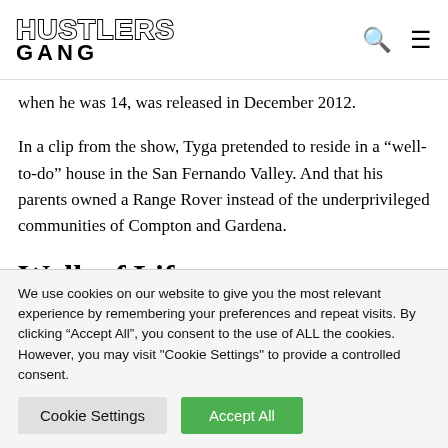HUSTLERS GANG
when he was 14, was released in December 2012.
In a clip from the show, Tyga pretended to reside in a “well-to-do” house in the San Fernando Valley. And that his parents owned a Range Rover instead of the underprivileged communities of Compton and Gardena.
Walk of Life
We use cookies on our website to give you the most relevant experience by remembering your preferences and repeat visits. By clicking “Accept All”, you consent to the use of ALL the cookies. However, you may visit "Cookie Settings" to provide a controlled consent.